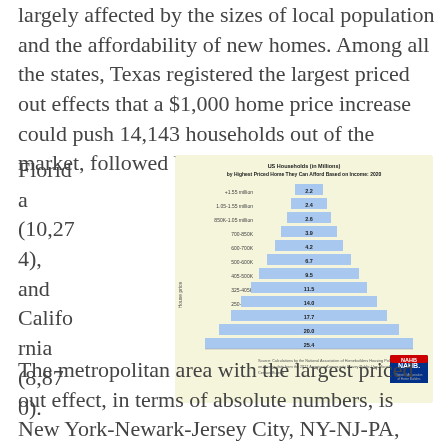largely affected by the sizes of local population and the affordability of new homes. Among all the states, Texas registered the largest priced out effects that a $1,000 home price increase could push 14,143 households out of the market, followed by Florida (10,274), and California (8,870).
[Figure (bar-chart): US Households (in Millions) by Highest Priced Home They Can Afford Based on Income: 2020]
The metropolitan area with the largest priced out effect, in terms of absolute numbers, is New York-Newark-Jersey City, NY-NJ-PA, where